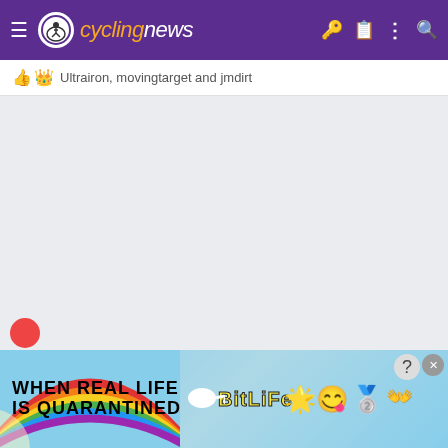cyclingnews
Ultrairon, movingtarget and jmdirt
[Figure (screenshot): Light gray empty content area]
[Figure (infographic): BitLife advertisement banner: 'WHEN REAL LIFE IS QUARANTINED' with rainbow, sperm graphic, BitLife logo in yellow, emoji characters with star eyes and face mask, question mark button and close button]